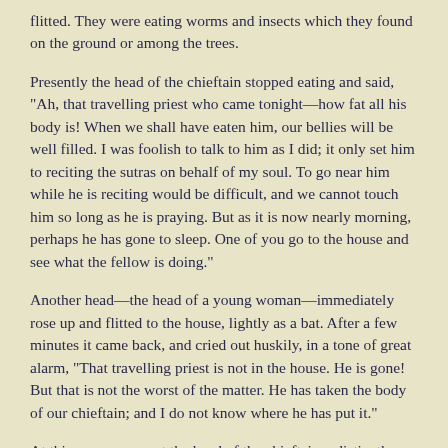flitted. They were eating worms and insects which they found on the ground or among the trees.
Presently the head of the chieftain stopped eating and said, "Ah, that travelling priest who came tonight—how fat all his body is! When we shall have eaten him, our bellies will be well filled. I was foolish to talk to him as I did; it only set him to reciting the sutras on behalf of my soul. To go near him while he is reciting would be difficult, and we cannot touch him so long as he is praying. But as it is now nearly morning, perhaps he has gone to sleep. One of you go to the house and see what the fellow is doing."
Another head—the head of a young woman—immediately rose up and flitted to the house, lightly as a bat. After a few minutes it came back, and cried out huskily, in a tone of great alarm, "That travelling priest is not in the house. He is gone! But that is not the worst of the matter. He has taken the body of our chieftain; and I do not know where he has put it."
At this announcement the head of the chieftain—distinctly visible in the moonlight—assumed a frightful aspect: its eyes opened monstrously; its hair stood up bristling; and its teeth gnashed. Then